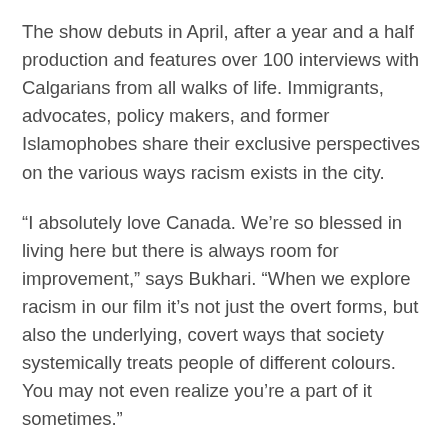The show debuts in April, after a year and a half production and features over 100 interviews with Calgarians from all walks of life. Immigrants, advocates, policy makers, and former Islamophobes share their exclusive perspectives on the various ways racism exists in the city.
“I absolutely love Canada. We’re so blessed in living here but there is always room for improvement,” says Bukhari. “When we explore racism in our film it’s not just the overt forms, but also the underlying, covert ways that society systemically treats people of different colours. You may not even realize you’re a part of it sometimes.”